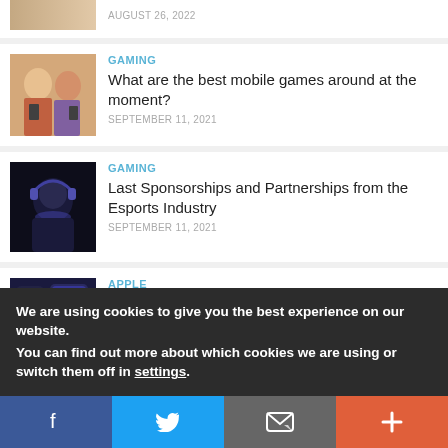AUGUST 26, 2022
GAMING
What are the best mobile games around at the moment?
SEPTEMBER 11, 2021
[Figure (photo): Two women playing mobile games]
GAMING
Last Sponsorships and Partnerships from the Esports Industry
SEPTEMBER 11, 2021
[Figure (photo): Person gaming with headset in dark setting]
APPLE
Apple launches pre-approval steps for iPhone 13
[Figure (photo): iPhone 13 devices]
We are using cookies to give you the best experience on our website.
You can find out more about which cookies we are using or switch them off in settings.